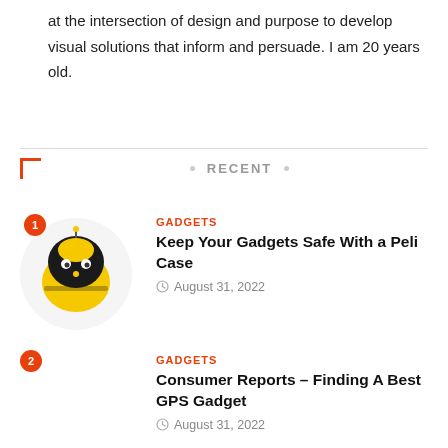at the intersection of design and purpose to develop visual solutions that inform and persuade. I am 20 years old.
RECENT
[Figure (photo): Yellow and black bee-shaped robot toy in a circular thumbnail]
GADGETS
Keep Your Gadgets Safe With a Peli Case
August 31, 2022
GADGETS
Consumer Reports – Finding A Best GPS Gadget
August 31, 2022